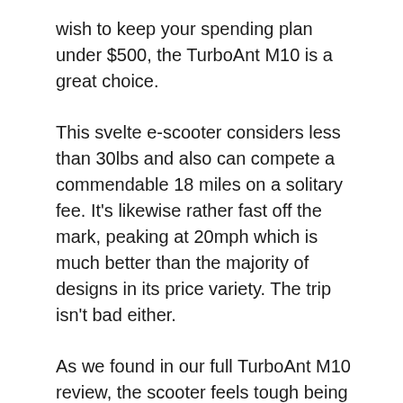wish to keep your spending plan under $500, the TurboAnt M10 is a great choice.
This svelte e-scooter considers less than 30lbs and also can compete a commendable 18 miles on a solitary fee. It's likewise rather fast off the mark, peaking at 20mph which is much better than the majority of designs in its price variety. The trip isn't bad either.
As we found in our full TurboAnt M10 review, the scooter feels tough being used and thanks to the pneumatic 10-inch tires, it's quite smooth sailing also.
It's not the perfect option if you want to rise hills, and as there's no application to attach to, there's